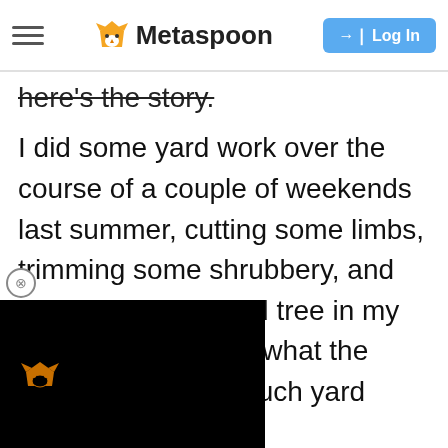Metaspoon — Log In
here's the story.
I did some yard work over the course of a couple of weekends last summer, cutting some limbs, trimming some shrubbery, and cutting down a dead tree in my backyard. Knowing what the rules are for how much yard waste, [obscured] such can be put out, [obscured] that was supposed [obscured] up three of them.
[Figure (other): Black advertisement/overlay panel with small fox logo icon, partially covering article text at bottom left of page.]